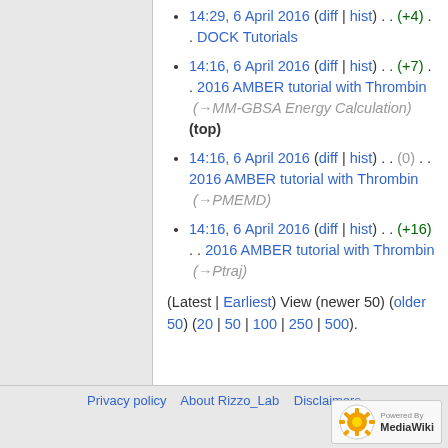14:29, 6 April 2016 (diff | hist) . . (+4) . . DOCK Tutorials
14:16, 6 April 2016 (diff | hist) . . (+7) . . 2016 AMBER tutorial with Thrombin (→MM-GBSA Energy Calculation) (top)
14:16, 6 April 2016 (diff | hist) . . (0) . . 2016 AMBER tutorial with Thrombin (→PMEMD)
14:16, 6 April 2016 (diff | hist) . . (+16) . . 2016 AMBER tutorial with Thrombin (→Ptraj)
(Latest | Earliest) View (newer 50) (older 50) (20 | 50 | 100 | 250 | 500).
Privacy policy  About Rizzo_Lab  Disclaimers